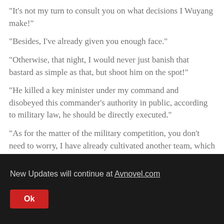“It’s not my turn to consult you on what decisions I Wuyang make!”
“Besides, I’ve already given you enough face.”
“Otherwise, that night, I would never just banish that bastard as simple as that, but shoot him on the spot!”
“He killed a key minister under my command and disobeyed this commander’s authority in public, according to military law, he should be directly executed.”
“As for the matter of the military competition, you don’t need to worry, I have already cultivated another team, which is only stronger than that group of trash of Green
New Updates will continue at Avnovel.com
Ok